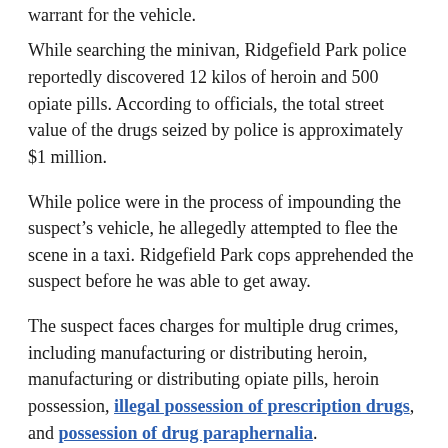warrant for the vehicle.
While searching the minivan, Ridgefield Park police reportedly discovered 12 kilos of heroin and 500 opiate pills. According to officials, the total street value of the drugs seized by police is approximately $1 million.
While police were in the process of impounding the suspect's vehicle, he allegedly attempted to flee the scene in a taxi. Ridgefield Park cops apprehended the suspect before he was able to get away.
The suspect faces charges for multiple drug crimes, including manufacturing or distributing heroin, manufacturing or distributing opiate pills, heroin possession, illegal possession of prescription drugs, and possession of drug paraphernalia.